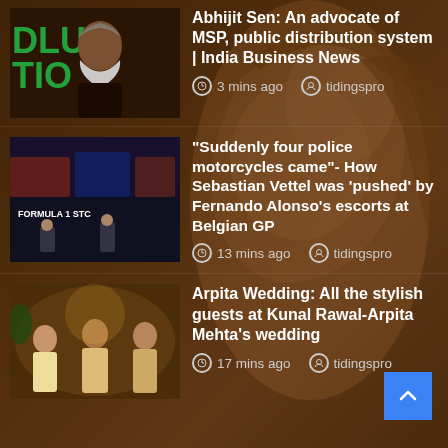[Figure (screenshot): News article thumbnail: elderly man with white beard, partial text 'DLUTIO' visible in background]
Abhijit Sen: An advocate of MSP, public distribution system | India Business News
3 mins ago  tidingspro
[Figure (screenshot): News article thumbnail: Formula 1 event scene with dark background and branding]
“Suddenly four police motorcycles came”- How Sebastian Vettel was ‘pushed’ by Fernando Alonso’s escorts at Belgian GP
13 mins ago  tidingspro
[Figure (screenshot): News article thumbnail: group of people at a wedding in traditional attire]
Arpita Wedding: All the stylish guests at Kunal Rawal-Arpita Mehta’s wedding
17 mins ago  tidingspro